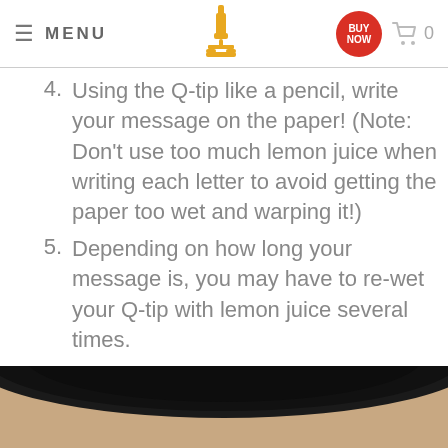MENU | [microscope logo] | BUY NOW | cart 0
4. Using the Q-tip like a pencil, write your message on the paper! (Note: Don't use too much lemon juice when writing each letter to avoid getting the paper too wet and warping it!)
5. Depending on how long your message is, you may have to re-wet your Q-tip with lemon juice several times.
6. Wait a few minutes for the paper to dry.
[Figure (photo): Close-up photograph showing a dark curved surface against a light beige/skin-toned background, partially visible at the bottom of the page.]